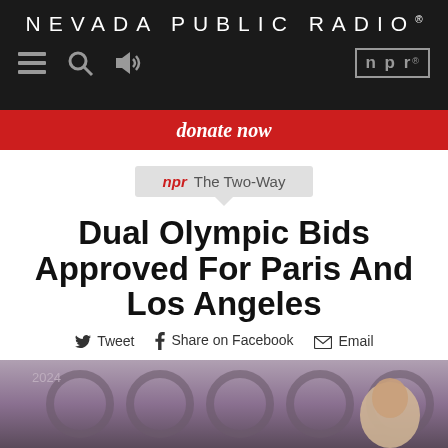NEVADA PUBLIC RADIO®
[Figure (screenshot): Nevada Public Radio website header with hamburger menu, search, volume icons and NPR logo box on dark background]
donate now
npr The Two-Way
Dual Olympic Bids Approved For Paris And Los Angeles
Tweet  Share on Facebook  Email
[Figure (photo): Partial photo of a person at what appears to be an Olympic-related event, with 2024 text visible and circular decorative pattern in background]